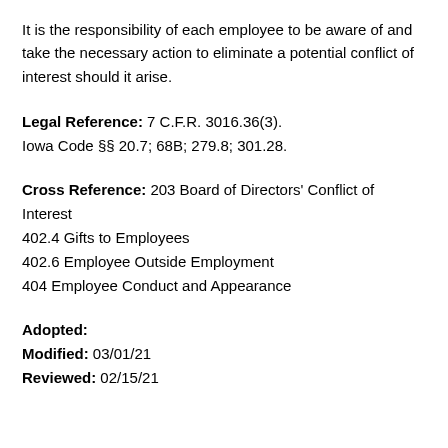It is the responsibility of each employee to be aware of and take the necessary action to eliminate a potential conflict of interest should it arise.
Legal Reference: 7 C.F.R. 3016.36(3). Iowa Code §§ 20.7; 68B; 279.8; 301.28.
Cross Reference: 203 Board of Directors' Conflict of Interest
402.4 Gifts to Employees
402.6 Employee Outside Employment
404 Employee Conduct and Appearance
Adopted:
Modified: 03/01/21
Reviewed: 02/15/21